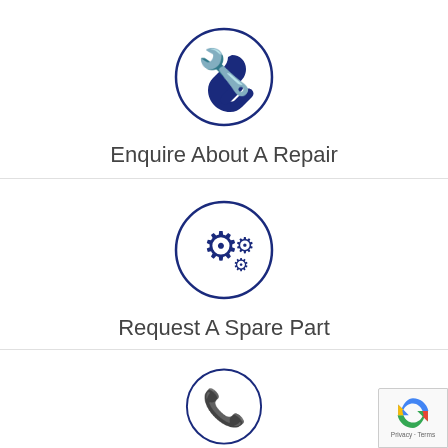[Figure (illustration): Circle icon with a wrench symbol in dark navy blue]
Enquire About A Repair
[Figure (illustration): Circle icon with gear/cogs symbols in dark navy blue]
Request A Spare Part
[Figure (illustration): Circle icon with a telephone/phone symbol in dark navy blue (partially visible)]